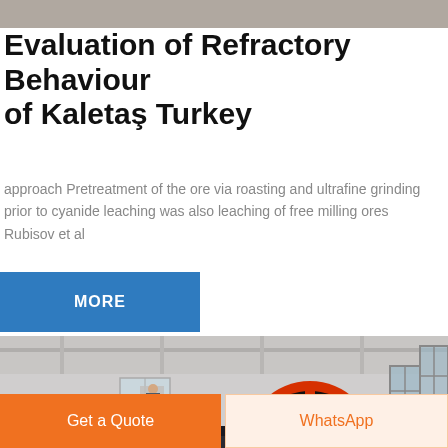Evaluation of Refractory Behaviour of Kaletaş Turkey
approach Pretreatment of the ore via roasting and ultrafine grinding prior to cyanide leaching was also leaching of free milling ores
Rubisov et al
[Figure (infographic): Blue 'MORE' button/banner]
[Figure (photo): Industrial machinery photo showing large red/orange pulley wheels and belt drive equipment inside a factory building]
Get a Quote
WhatsApp